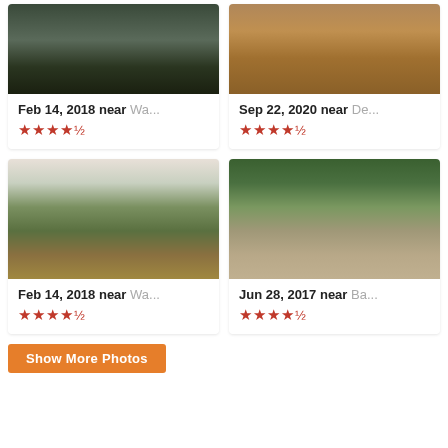[Figure (photo): Mountain rock face photo - dark rocky cliff with trees]
Feb 14, 2018 near Wa...
★★★★½
[Figure (photo): Desert or rocky landscape from above - brown/orange terrain]
Sep 22, 2020 near De...
★★★★½
[Figure (photo): Green mountain ridge view from rocky summit - lush forested hills]
Feb 14, 2018 near Wa...
★★★★½
[Figure (photo): Waterfall over rocks in forest with person visible]
Jun 28, 2017 near Ba...
★★★★½
Show More Photos